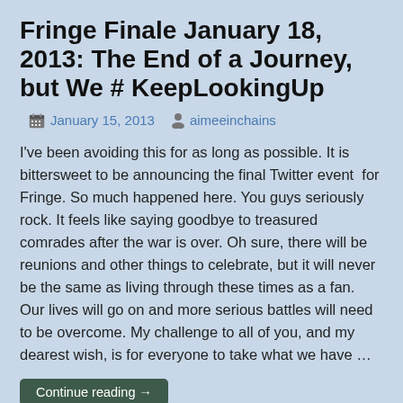Fringe Finale January 18, 2013: The End of a Journey, but We # KeepLookingUp
January 15, 2013   aimeeinchains
I've been avoiding this for as long as possible. It is bittersweet to be announcing the final Twitter event  for Fringe. So much happened here. You guys seriously rock. It feels like saying goodbye to treasured comrades after the war is over. Oh sure, there will be reunions and other things to celebrate, but it will never be the same as living through these times as a fan. Our lives will go on and more serious battles will need to be overcome. My challenge to all of you, and my dearest wish, is for everyone to take what we have …
Continue reading →